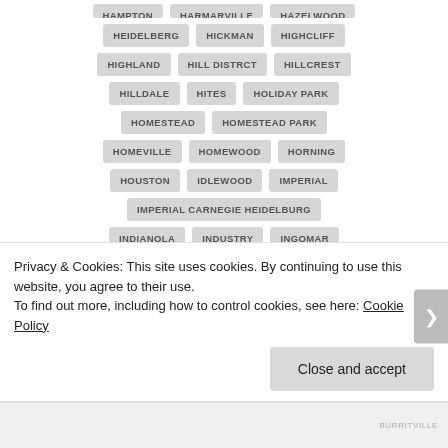HEIDELBERG, HICKMAN, HIGHCLIFF
HIGHLAND, HILL DISTRCT, HILLCREST
HILLDALE, HITES, HOLIDAY PARK
HOMESTEAD, HOMESTEAD PARK
HOMEVILLE, HOMEWOOD, HORNING
HOUSTON, IDLEWOOD, IMPERIAL
IMPERIAL  CARNEGIE  HEIDELBURG
INDIANOLA, INDUSTRY, INGOMAR
INGRAM, JEFFERSON HILLS, JEWELL
KARNS, KENMAWR, KENNYWOOD PARK
Privacy & Cookies: This site uses cookies. By continuing to use this website, you agree to their use.
To find out more, including how to control cookies, see here: Cookie Policy
Close and accept